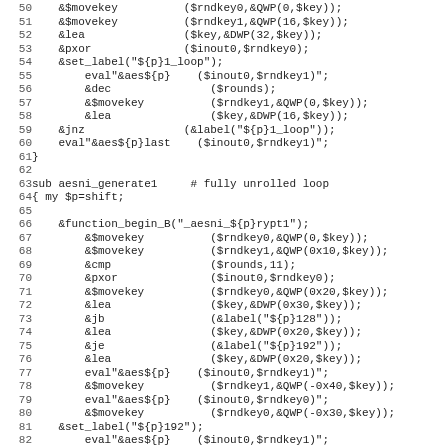Source code listing lines 50-82, showing Perl assembly generation subroutines for AES-NI encryption.